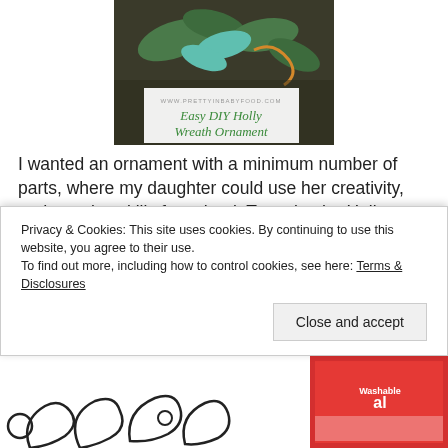[Figure (photo): Photo of a holly wreath ornament with green leaves and red berries, with a white label overlay reading 'www.prettyinbabyfood.com' and 'Easy DIY Holly Wreath Ornament' in green script text.]
I wanted an ornament with a minimum number of parts, where my daughter could use her creativity, and practice skills for school. To make the Holly Wreath Ornament all you will need is the templates, scissors, crayons/markers, glue, string, and a hole punch. (This
Privacy & Cookies: This site uses cookies. By continuing to use this website, you agree to their use.
To find out more, including how to control cookies, see here: Terms & Disclosures
Close and accept
[Figure (photo): Partial bottom strip showing a coloring/craft page with holly leaf outlines in black and white, and a partial view of a Washable marker package on the right.]